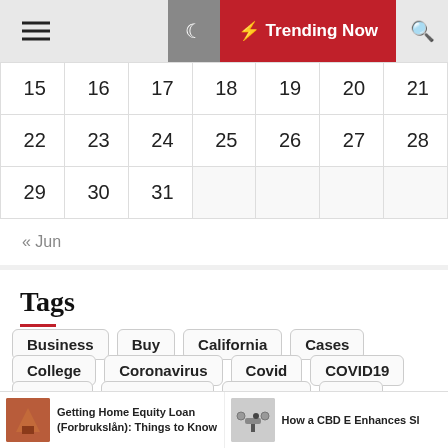Trending Now
| 15 | 16 | 17 | 18 | 19 | 20 | 21 |
| 22 | 23 | 24 | 25 | 26 | 27 | 28 |
| 29 | 30 | 31 |  |  |  |  |
« Jun
Tags
Business
Buy
California
Cases
College
Coronavirus
Covid
COVID19
Dentist
Department
Division
Face
Getting Home Equity Loan (Forbrukslån): Things to Know
How a CBD E Enhances Sl